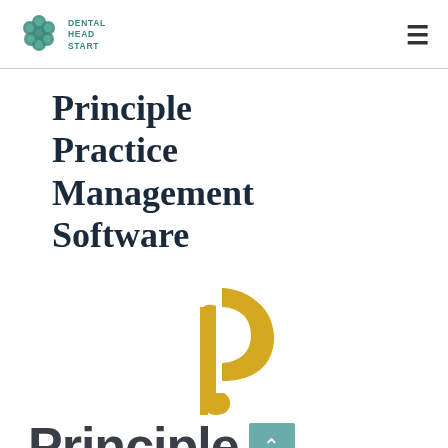DENTAL HEAD START
Principle Practice Management Software
[Figure (logo): Principle software logo — stylized yellow/gold letter P made of two curved shapes]
[Figure (logo): Principle wordmark in dark gray bold sans-serif font with teal scroll-to-top button]